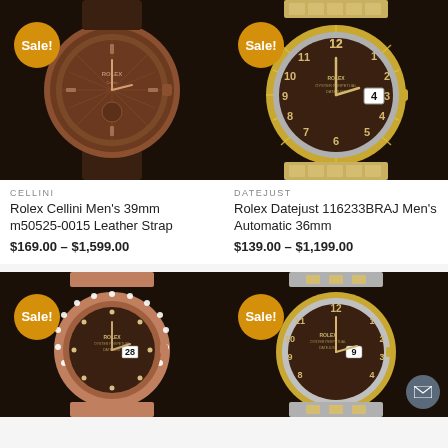[Figure (photo): Rolex Cellini Men's watch with brown leather strap on dark background, Sale badge]
CELLINI
Rolex Cellini Men's 39mm m50525-0015 Leather Strap
$169.00 – $1,599.00
[Figure (photo): Rolex Datejust 116233BRAJ Men's Automatic watch with gold/steel bracelet on dark background, Sale badge]
DATEJUST
Rolex Datejust 116233BRAJ Men's Automatic 36mm
$139.00 – $1,199.00
[Figure (photo): Rolex Datejust ladies watch with rose gold and diamond bezel on dark background, Sale badge]
[Figure (photo): Rolex Datejust watch with gold/steel bracelet on dark background, Sale badge]